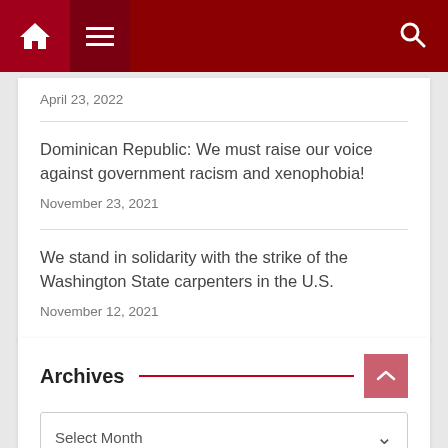Navigation bar with home, menu, and search icons
April 23, 2022
Dominican Republic: We must raise our voice against government racism and xenophobia!
November 23, 2021
We stand in solidarity with the strike of the Washington State carpenters in the U.S.
November 12, 2021
Archives
Select Month